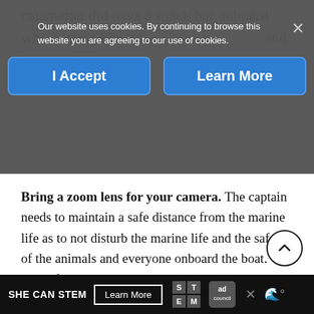catamaran did have a snack bar onboard where items like c... and beer could be p...
Our website uses cookies. By continuing to browse this website you are agreeing to our use of cookies.
I Accept
Learn More
Bring a zoom lens for your camera. The captain needs to maintain a safe distance from the marine life as to not disturb the marine life and the safety of the animals and everyone onboard the boat. Wildlife was visible with the naked eye, but we found photography was better with a zoom lens.
Arrive early. Be one of the first onboard to pick o...
SHE CAN STEM  Learn More